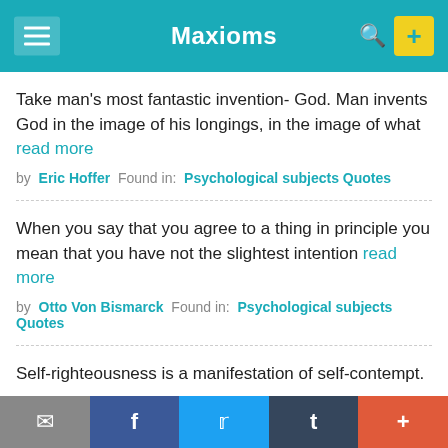Maxioms
Take man's most fantastic invention- God. Man invents God in the image of his longings, in the image of what read more
by Eric Hoffer Found in: Psychological subjects Quotes
When you say that you agree to a thing in principle you mean that you have not the slightest intention read more
by Otto Von Bismarck Found in: Psychological subjects Quotes
Self-righteousness is a manifestation of self-contempt.
by Eric Hoffer Found in: Psychological subjects Quotes
Truth, never comes into the world but like a Bastard, to the
✉ f 𝕥 t +